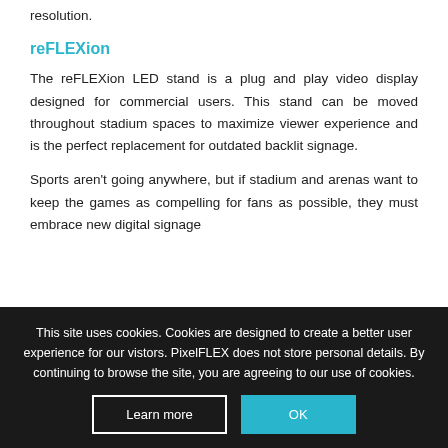resolution.
reFLEXion
The reFLEXion LED stand is a plug and play video display designed for commercial users. This stand can be moved throughout stadium spaces to maximize viewer experience and is the perfect replacement for outdated backlit signage.
Sports aren't going anywhere, but if stadium and arenas want to keep the games as compelling for fans as possible, they must embrace new digital signage
This site uses cookies. Cookies are designed to create a better user experience for our vistors. PixelFLEX does not store personal details. By continuing to browse the site, you are agreeing to our use of cookies.
Learn more
OK